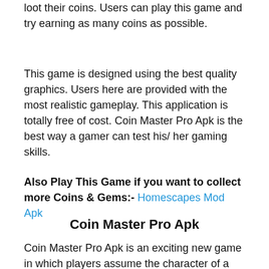loot their coins. Users can play this game and try earning as many coins as possible.
This game is designed using the best quality graphics. Users here are provided with the most realistic gameplay. This application is totally free of cost. Coin Master Pro Apk is the best way a gamer can test his/ her gaming skills.
Also Play This Game if you want to collect more Coins & Gems:- Homescapes Mod Apk
Coin Master Pro Apk
Coin Master Pro Apk is an exciting new game in which players assume the character of a Viking on a quest for